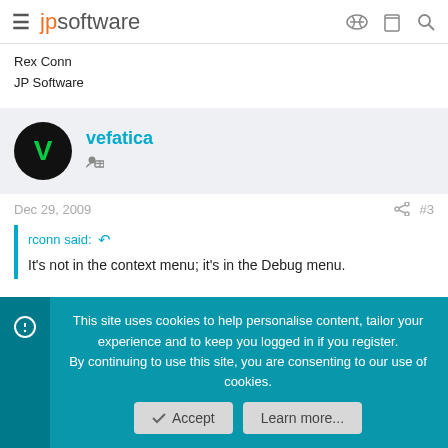jpsoftware
Rex Conn
JP Software
vefatica
Dec 29, 2009   #3
rconn said:
It's not in the context menu; it's in the Debug menu.
This site uses cookies to help personalise content, tailor your experience and to keep you logged in if you register.
By continuing to use this site, you are consenting to our use of cookies.